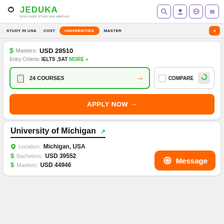JEDUKA - DISCOVER STUDYING ABROAD
STUDY IN USA  COST  UNIVERSITIES  MASTER
$ Masters: USD 28510
Entry Criteria: IELTS ,SAT MORE »
24 COURSES →
COMPARE
APPLY NOW →
University of Michigan
Location: Michigan, USA
Bachelors: USD 39552
Masters: USD 44946
Message